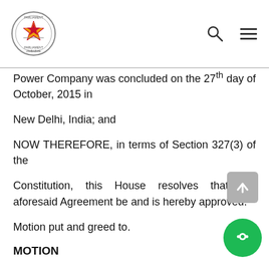Parliament of Zimbabwe logo, search icon, menu icon
Power Company was concluded on the 27th day of October, 2015 in
New Delhi, India; and
NOW THEREFORE, in terms of Section 327(3) of the
Constitution, this House resolves that the aforesaid Agreement be and is hereby approved.
Motion put and greed to.
MOTION
RATIFICATION OF THE LOAN AGREEMENT B[ETWEE]N THE